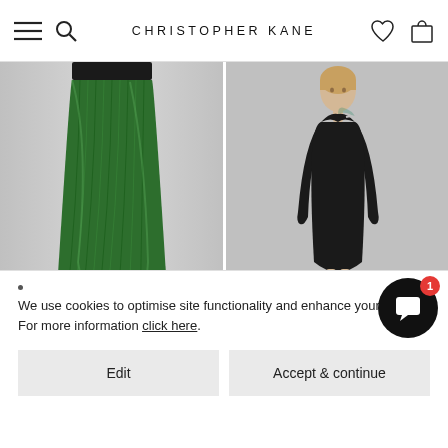CHRISTOPHER KANE
[Figure (photo): Two fashion product photos side by side: left shows a green metallic pleated maxi skirt with silver sandals on a gray background; right shows a model wearing a black long-sleeve asymmetric mini dress with black ankle boots on a gray background.]
We use cookies to optimise site functionality and enhance your ex For more information click here.
Edit
Accept & continue